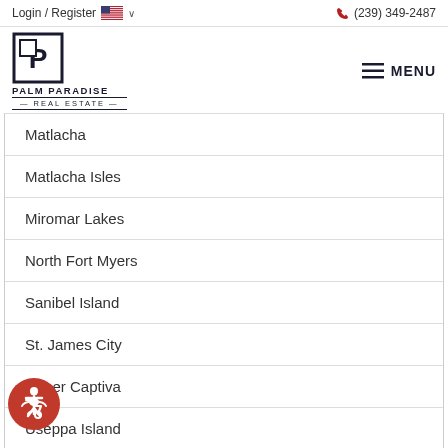Login / Register  🇺🇸 ∨  (239) 349-2487
[Figure (logo): Palm Paradise Real Estate logo with stylized P in a square box, text PALM PARADISE REAL ESTATE below]
Matlacha
Matlacha Isles
Miromar Lakes
North Fort Myers
Sanibel Island
St. James City
Upper Captiva
Useppa Island
[Figure (illustration): Red circular accessibility icon button in bottom left corner]